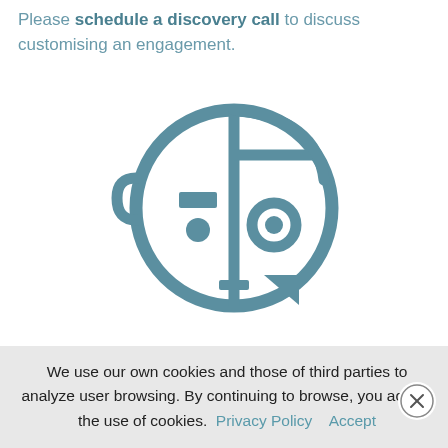Please schedule a discovery call to discuss customising an engagement.
[Figure (illustration): A stylized icon of a robot/AI face combining human and mechanical elements, drawn in teal/steel blue outline style. The left half shows a human-like face with a circular eye and small rectangular nose, and an ear-like bracket shape. The right half shows mechanical/robot features with a large circular element, geometric shapes, and a cross/plus symbol at the bottom center.]
We use our own cookies and those of third parties to analyze user browsing. By continuing to browse, you accept the use of cookies. Privacy Policy   Accept